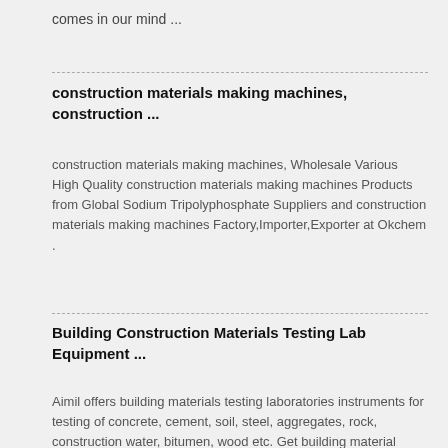comes in our mind ...
construction materials making machines, construction ...
construction materials making machines, Wholesale Various High Quality construction materials making machines Products from Global Sodium Tripolyphosphate Suppliers and construction materials making machines Factory,Importer,Exporter at Okchem .
Building Construction Materials Testing Lab Equipment ...
Aimil offers building materials testing laboratories instruments for testing of concrete, cement, soil, steel, aggregates, rock, construction water, bitumen, wood etc. Get building material testing manual with concrete technology lab